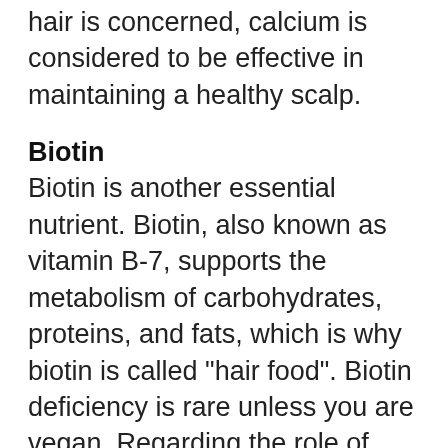hair is concerned, calcium is considered to be effective in maintaining a healthy scalp.
Biotin
Biotin is another essential nutrient. Biotin, also known as vitamin B-7, supports the metabolism of carbohydrates, proteins, and fats, which is why biotin is called "hair food". Biotin deficiency is rare unless you are vegan. Regarding the role of biotin, dermatologists and trichologists generally agree that a lack of biotin causes hair to break in strands instead of breaking at the root or below the scalp's surface.